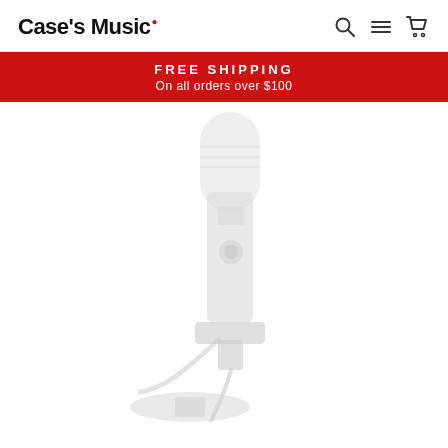Case's Music
FREE SHIPPING
On all orders over $100
[Figure (photo): A studio condenser microphone on a stand with a cable, shown in a very light/faded white-on-white style against a white background. The microphone is positioned center-right of the image area.]